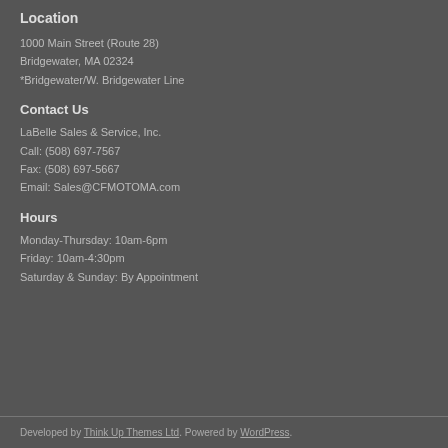Location
1000 Main Street (Route 28)
Bridgewater, MA 02324
*Bridgewater/W. Bridgewater Line
Contact Us
LaBelle Sales & Service, Inc.
Call: (508) 697-7567
Fax: (508) 697-5667
Email: Sales@CFMOTOMA.com
Hours
Monday-Thursday: 10am-6pm
Friday: 10am-4:30pm
Saturday & Sunday: By Appointment
Developed by Think Up Themes Ltd. Powered by WordPress.